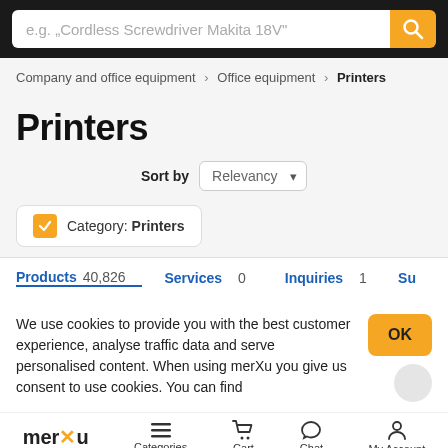[Figure (screenshot): Search bar with placeholder text and yellow search button]
Company and office equipment › Office equipment › Printers
Printers
Sort by Relevancy
Category: Printers
Products 40,826   Services 0   Inquiries 1   Su...
We use cookies to provide you with the best customer experience, analyse traffic data and serve personalised content. When using merXu you give us consent to use cookies. You can find
OK
merXu  Categories  Cart  Chat  My Account